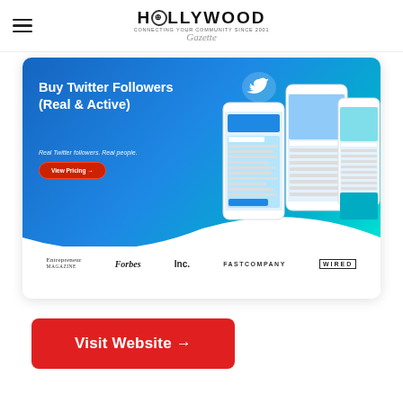[Figure (logo): Hollywood Gazette logo with hamburger menu icon]
[Figure (screenshot): Advertisement banner for buying Twitter followers showing mobile phone screenshots, Twitter bird icon, heading 'Buy Twitter Followers (Real & Active)', subtitle 'Real Twitter followers. Real people.', red 'View Pricing' button, and media logos: Entrepreneur, Forbes, Inc., Fast Company, WIRED]
[Figure (other): Red 'Visit Website →' button]